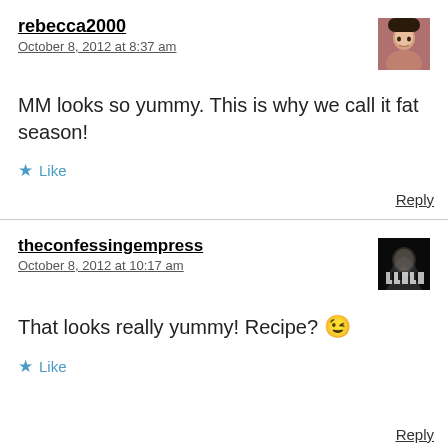rebecca2000
October 8, 2012 at 8:37 am
[Figure (photo): Avatar photo of rebecca2000]
MM looks so yummy. This is why we call it fat season!
★ Like
Reply
theconfessingempress
October 8, 2012 at 10:17 am
[Figure (photo): Avatar photo of theconfessingempress]
That looks really yummy! Recipe? 😉
★ Like
Reply